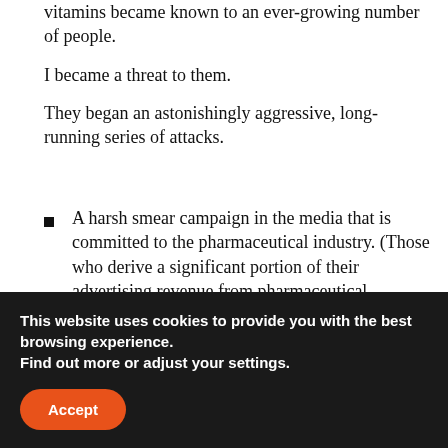vitamins became known to an ever-growing number of people.
I became a threat to them.
They began an astonishingly aggressive, long-running series of attacks.
A harsh smear campaign in the media that is committed to the pharmaceutical industry. (Those who derive a significant portion of their advertising revenue from pharmaceutical advertising were willing to participate in the attempts to discredit me.)
A series of shakedowns under police escorts,
This website uses cookies to provide you with the best browsing experience.
Find out more or adjust your settings.
Accept